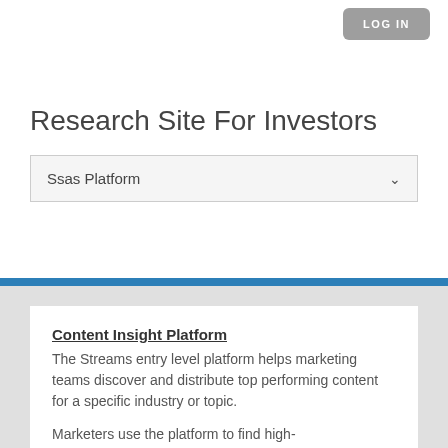LOG IN
Research Site For Investors
Ssas Platform
Content Insight Platform
The Streams entry level platform helps marketing teams discover and distribute top performing content for a specific industry or topic.

Marketers use the platform to find high-